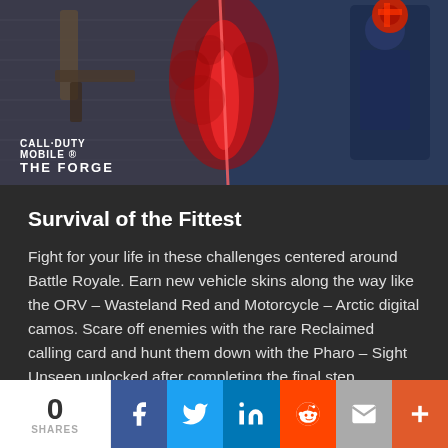[Figure (photo): Call of Duty Mobile - The Forge promotional image showing weapons with red smoke/energy effect in the center]
Survival of the Fittest
Fight for your life in these challenges centered around Battle Royale. Earn new vehicle skins along the way like the ORV – Wasteland Red and Motorcycle – Arctic digital camos. Scare off enemies with the rare Reclaimed calling card and hunt them down with the Pharo – Sight Unseen unlocked after completing the final step.
Connoisseur
0 SHARES | Facebook | Twitter | LinkedIn | Reddit | Email | More